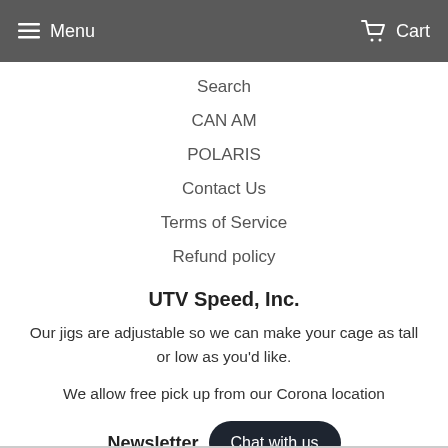Menu  Cart
Search
CAN AM
POLARIS
Contact Us
Terms of Service
Refund policy
UTV Speed, Inc.
Our jigs are adjustable so we can make your cage as tall or low as you'd like.
We allow free pick up from our Corona location
Newsletter
Promotions, new products and sales. Directly to your inbox.